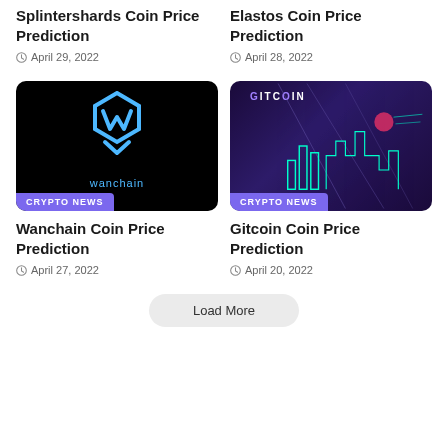Splintershards Coin Price Prediction
April 29, 2022
Elastos Coin Price Prediction
April 28, 2022
[Figure (photo): Wanchain logo on black background with CRYPTO NEWS badge]
[Figure (photo): Gitcoin logo on purple/dark background with CRYPTO NEWS badge]
Wanchain Coin Price Prediction
April 27, 2022
Gitcoin Coin Price Prediction
April 20, 2022
Load More